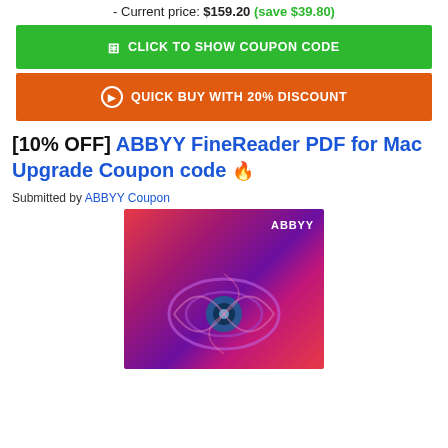- Current price: $159.20 (save $39.80)
CLICK TO SHOW COUPON CODE
QUICK BUY WITH 20% DISCOUNT
[10% OFF] ABBYY FineReader PDF for Mac Upgrade Coupon code 🔥
Submitted by ABBYY Coupon
[Figure (photo): ABBYY FineReader PDF product box art with red/purple swirling design and eye graphic]